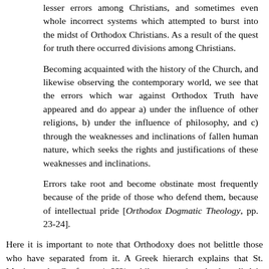lesser errors among Christians, and sometimes even whole incorrect systems which attempted to burst into the midst of Orthodox Christians. As a result of the quest for truth there occurred divisions among Christians.
Becoming acquainted with the history of the Church, and likewise observing the contemporary world, we see that the errors which war against Orthodox Truth have appeared and do appear a) under the influence of other religions, b) under the influence of philosophy, and c) through the weaknesses and inclinations of fallen human nature, which seeks the rights and justifications of these weaknesses and inclinations.
Errors take root and become obstinate most frequently because of the pride of those who defend them, because of intellectual pride [Orthodox Dogmatic Theology, pp. 23-24].
Here it is important to note that Orthodoxy does not belittle those who have separated from it. A Greek hierarch explains that St. Maximus the Confessor (+662), while expressing absolute disdain for false teachings and those things which defile the faith, nevertheless dismissed as abhorrent any harm directed against the unbeholdfol belief the only ... He had presented false